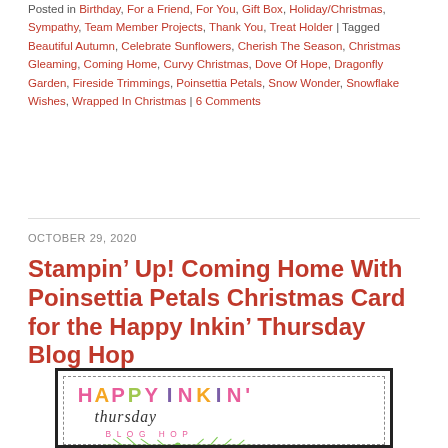Posted in Birthday, For a Friend, For You, Gift Box, Holiday/Christmas, Sympathy, Team Member Projects, Thank You, Treat Holder | Tagged Beautiful Autumn, Celebrate Sunflowers, Cherish The Season, Christmas Gleaming, Coming Home, Curvy Christmas, Dove Of Hope, Dragonfly Garden, Fireside Trimmings, Poinsettia Petals, Snow Wonder, Snowflake Wishes, Wrapped In Christmas | 6 Comments
OCTOBER 29, 2020
Stampin’ Up! Coming Home With Poinsettia Petals Christmas Card for the Happy Inkin’ Thursday Blog Hop
[Figure (illustration): Happy Inkin' Thursday Blog Hop logo card with colorful lettering: HAPPY INKIN' in pink/orange/green, thursday in cursive script, BLOG HOP in spaced pink letters, and green branch decorations below]